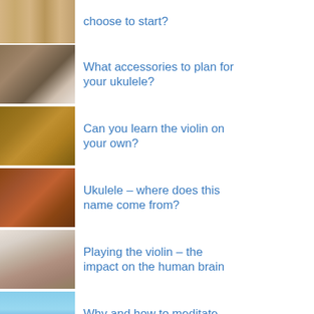choose to start?
What accessories to plan for your ukulele?
Can you learn the violin on your own?
Ukulele – where does this name come from?
Playing the violin – the impact on the human brain
Why and how to meditate using music?